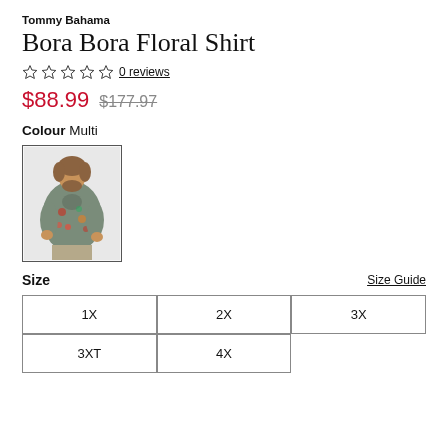Tommy Bahama
Bora Bora Floral Shirt
0 reviews
$88.99  $177.97
Colour Multi
[Figure (photo): Man wearing the Bora Bora Floral Shirt by Tommy Bahama, a short-sleeve floral patterned shirt in grey/green with colorful flowers, paired with khaki pants.]
Size   Size Guide
1X  2X  3X  3XT  4X